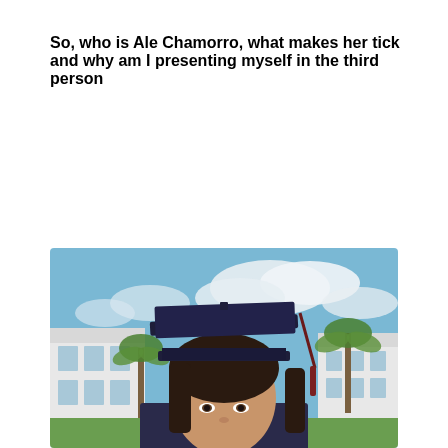So, who is Ale Chamorro, what makes her tick and why am I presenting myself in the third person
[Figure (photo): A young woman wearing a navy blue graduation cap and gown, photographed outdoors against a bright blue sky with white clouds. A white building and palm trees are visible in the background. The photo is taken from slightly below, showing her face looking at the camera.]